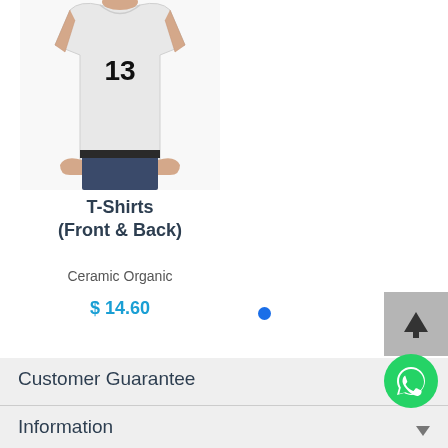[Figure (photo): Man wearing a white t-shirt with number 13 on it, shown from neck to waist with hands on hips]
T-Shirts
(Front & Back)
Ceramic Organic
$ 14.60
[Figure (other): Blue filled circle dot indicator]
[Figure (other): Scroll up button with upward arrow icon on grey background]
Customer Guarantee
Information
[Figure (other): WhatsApp green circle icon button]